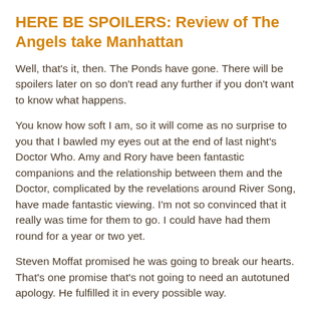HERE BE SPOILERS: Review of The Angels take Manhattan
Well, that's it, then. The Ponds have gone. There will be spoilers later on so don't read any further if you don't want to know what happens.
You know how soft I am, so it will come as no surprise to you that I bawled my eyes out at the end of last night's Doctor Who. Amy and Rory have been fantastic companions and the relationship between them and the Doctor, complicated by the revelations around River Song, have made fantastic viewing. I'm not so convinced that it really was time for them to go. I could have had them round for a year or two yet.
Steven Moffat promised he was going to break our hearts. That's one promise that's not going to need an autotuned apology. He fulfilled it in every possible way.
The scene was Manhattan, where the weeping angels controlled a building called Winter's Quay. Rather than the